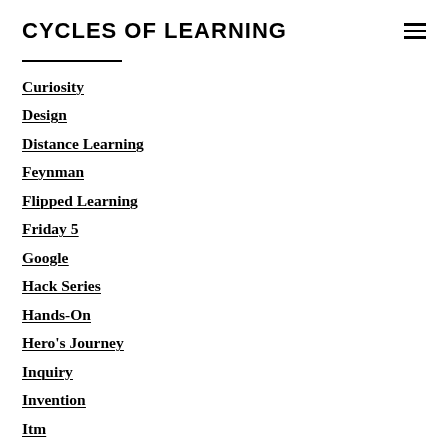CYCLES OF LEARNING
Curiosity
Design
Distance Learning
Feynman
Flipped Learning
Friday 5
Google
Hack Series
Hands-On
Hero's Journey
Inquiry
Invention
Itm
Lecture
Maker
Masterclass